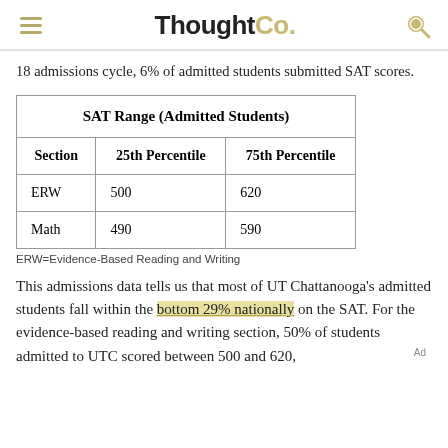ThoughtCo.
18 admissions cycle, 6% of admitted students submitted SAT scores.
| Section | 25th Percentile | 75th Percentile |
| --- | --- | --- |
| ERW | 500 | 620 |
| Math | 490 | 590 |
ERW=Evidence-Based Reading and Writing
This admissions data tells us that most of UT Chattanooga's admitted students fall within the bottom 29% nationally on the SAT. For the evidence-based reading and writing section, 50% of students admitted to UTC scored between 500 and 620,